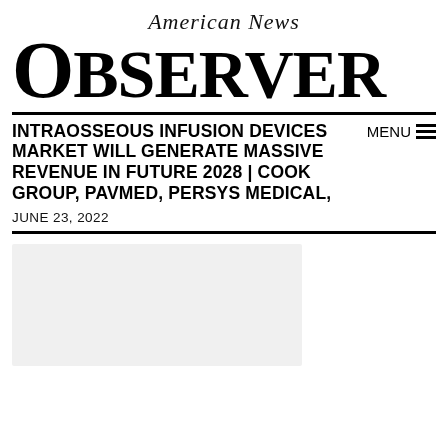American News
Observer
INTRAOSSEOUS INFUSION DEVICES MARKET WILL GENERATE MASSIVE REVENUE IN FUTURE 2028 | COOK GROUP, PAVMED, PERSYS MEDICAL,
JUNE 23, 2022
[Figure (photo): Light grey placeholder image box]